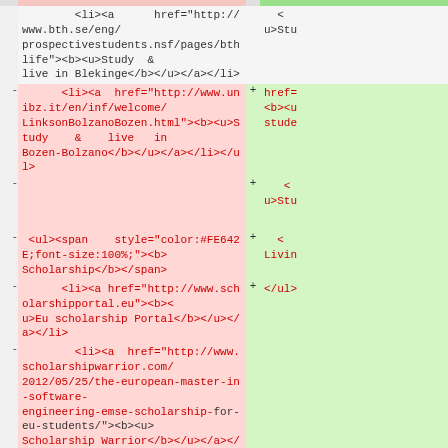[Figure (screenshot): Diff view of HTML source code showing removed lines (red/pink background) on the left and added lines (green background) on the right. The content includes HTML list items with links to university and scholarship websites.]